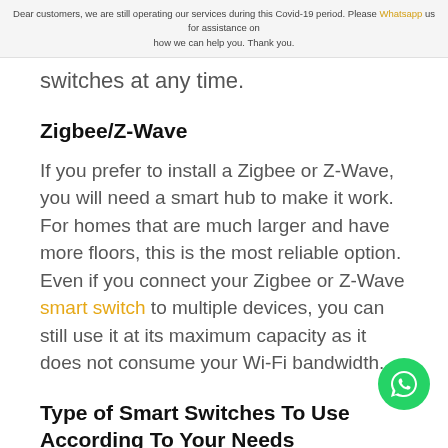Dear customers, we are still operating our services during this Covid-19 period. Please Whatsapp us for assistance on how we can help you. Thank you.
switches at any time.
Zigbee/Z-Wave
If you prefer to install a Zigbee or Z-Wave, you will need a smart hub to make it work. For homes that are much larger and have more floors, this is the most reliable option. Even if you connect your Zigbee or Z-Wave smart switch to multiple devices, you can still use it at its maximum capacity as it does not consume your Wi-Fi bandwidth.
Type of Smart Switches To Use According To Your Needs